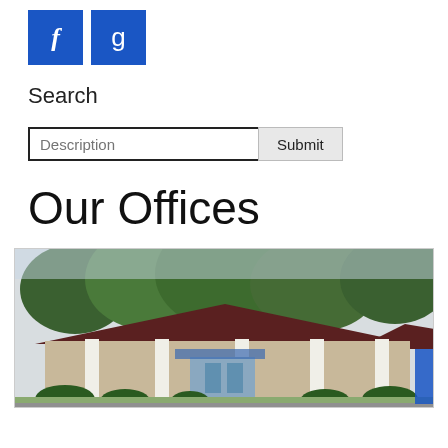[Figure (other): Social media icons: Facebook (f) and Google (8) blue square buttons]
Search
[Figure (other): Search bar with Description placeholder text and Submit button]
Our Offices
[Figure (photo): Exterior photo of an office building with dark maroon/brown roof, white columns, landscaping with shrubs, and trees in background. A blue accent element is visible on the right side.]